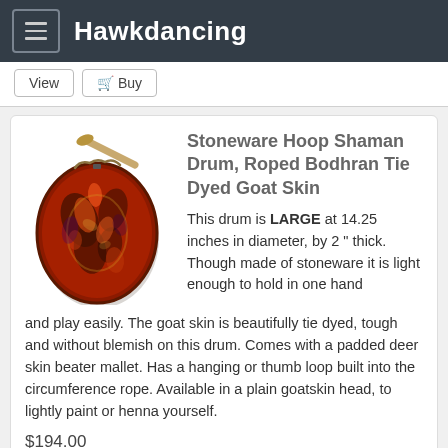Hawkdancing
View  Buy
Stoneware Hoop Shaman Drum, Roped Bodhran Tie Dyed Goat Skin
[Figure (photo): A reddish-orange oval stoneware hoop drum with tie dyed goat skin, shown with a beater mallet resting on top]
This drum is LARGE at 14.25 inches in diameter, by 2 " thick. Though made of stoneware it is light enough to hold in one hand and play easily. The goat skin is beautifully tie dyed, tough and without blemish on this drum. Comes with a padded deer skin beater mallet. Has a hanging or thumb loop built into the circumference rope. Available in a plain goatskin head, to lightly paint or henna yourself.
$194.00